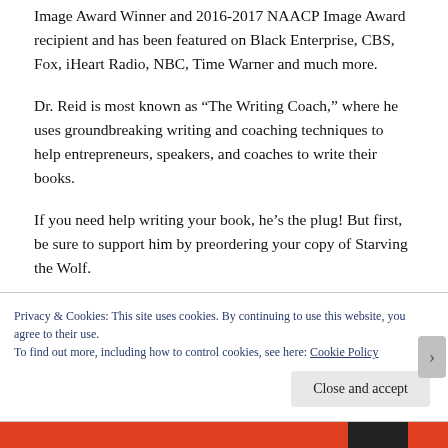Image Award Winner and 2016-2017 NAACP Image Award recipient and has been featured on Black Enterprise, CBS, Fox, iHeart Radio, NBC, Time Warner and much more.
Dr. Reid is most known as “The Writing Coach,” where he uses groundbreaking writing and coaching techniques to help entrepreneurs, speakers, and coaches to write their books.
If you need help writing your book, he’s the plug! But first, be sure to support him by preordering your copy of Starving the Wolf.
Privacy & Cookies: This site uses cookies. By continuing to use this website, you agree to their use.
To find out more, including how to control cookies, see here: Cookie Policy